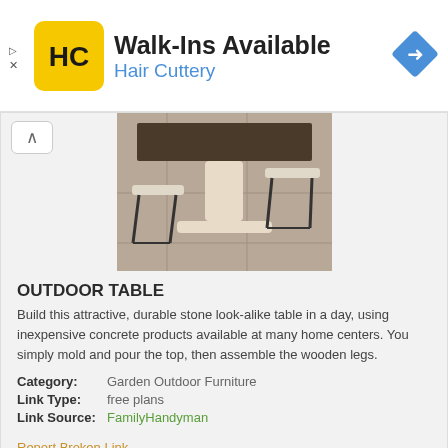[Figure (logo): Hair Cuttery advertisement banner with HC logo, 'Walk-Ins Available' headline, 'Hair Cuttery' subtext in blue, and a blue navigation diamond icon on the right]
[Figure (photo): Outdoor concrete look-alike table with white wooden pedestal base and two metal bar stools with white seats, viewed from the side on a stone floor]
OUTDOOR TABLE
Build this attractive, durable stone look-alike table in a day, using inexpensive concrete products available at many home centers. You simply mold and pour the top, then assemble the wooden legs.
Category: Garden Outdoor Furniture
Link Type: free plans
Link Source: FamilyHandyman
Report Broken Link
[Figure (photo): Bottom portion of a second outdoor table card showing a brown wood top with white painted legs]